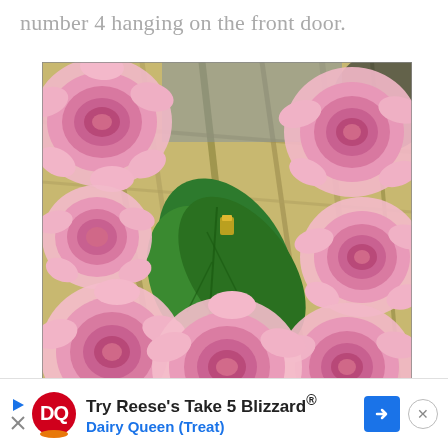number 4 hanging on the front door.
[Figure (photo): Close-up photograph of a wreath made of pink roses with green leaves and twigs, arranged in a circular pattern, hanging on a front door.]
Try Reese's Take 5 Blizzard® Dairy Queen (Treat)